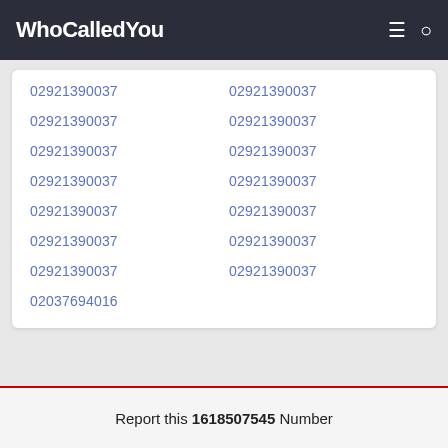WhoCalledYou
02921390037
02921390037
02921390037
02921390037
02921390037
02921390037
02921390037
02921390037
02921390037
02921390037
02921390037
02921390037
02921390037
02921390037
02037694016
Report this 1618507545 Number